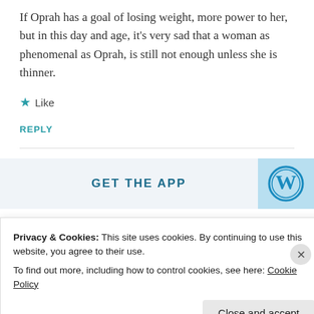If Oprah has a goal of losing weight, more power to her, but in this day and age, it's very sad that a woman as phenomenal as Oprah, is still not enough unless she is thinner.
★ Like
REPLY
[Figure (screenshot): GET THE APP banner with WordPress logo icon]
Privacy & Cookies: This site uses cookies. By continuing to use this website, you agree to their use.
To find out more, including how to control cookies, see here: Cookie Policy
Close and accept